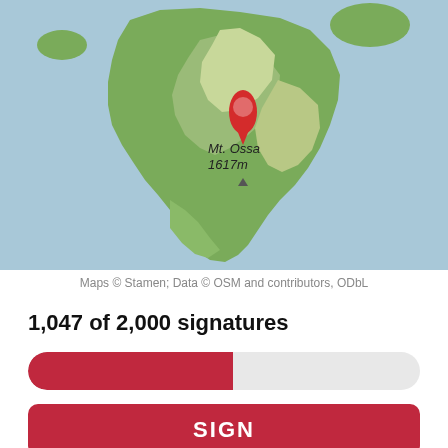[Figure (map): Map of Tasmania, Australia showing terrain with a red location pin marking Mt. Ossa at 1617m elevation. Background is light blue (ocean), land is green/brown terrain.]
Maps © Stamen; Data © OSM and contributors, ODbL
1,047 of 2,000 signatures
[Figure (infographic): Progress bar showing approximately 52% filled in red, representing 1,047 of 2,000 signatures collected.]
SIGN